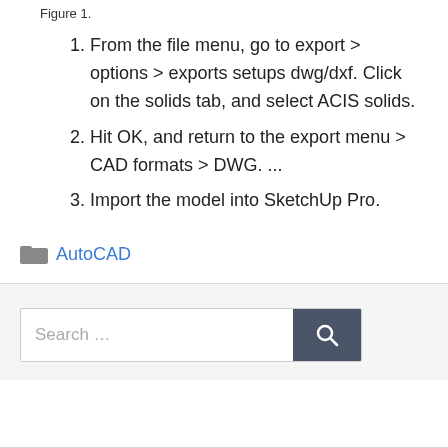Figure 1.
From the file menu, go to export > options > exports setups dwg/dxf. Click on the solids tab, and select ACIS solids.
Hit OK, and return to the export menu > CAD formats > DWG. ...
Import the model into SketchUp Pro.
AutoCAD
Search ...